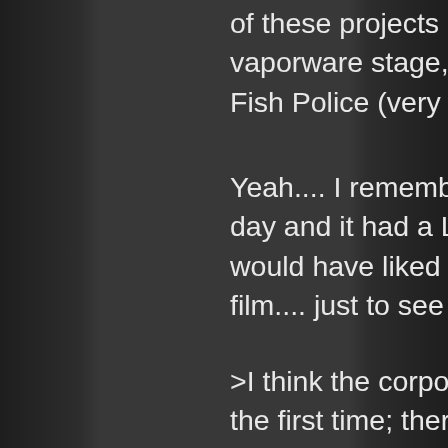of these projects developed beyond the vaporware stage, except Steve Moncuse's Fish Police (very briefly).
Yeah.... I remember seeing a list back in the day and it had a LOT of weird choices. (Still would have liked to see an “American Flagg” film.... just to see how bad they’d mess it up.)
>I think the corporate media giants had it right the first time; there’s gold in them thar hills. It would seem that their sudden decision to drop all development on small-press properties was based on the failure of the Fish Police animated series, however, apparently the creative team for this show was never fully supported.
That happens a lot. Especially for animation, franchises are seen as a